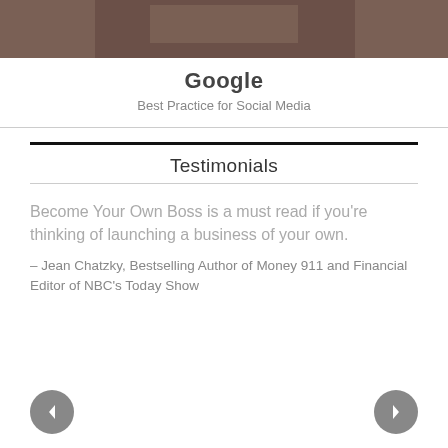[Figure (photo): Cropped photo showing hands, partially visible at the top of the page]
Google
Best Practice for Social Media
Testimonials
Become Your Own Boss is a must read if you're thinking of launching a business of your own.
– Jean Chatzky, Bestselling Author of Money 911 and Financial Editor of NBC's Today Show